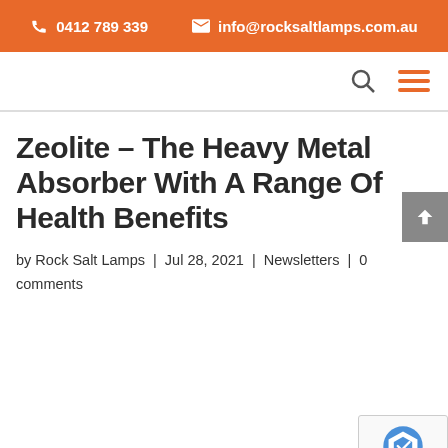0412 789 339  info@rocksaltlamps.com.au
Zeolite – The Heavy Metal Absorber With A Range Of Health Benefits
by Rock Salt Lamps | Jul 28, 2021 | Newsletters | 0 comments